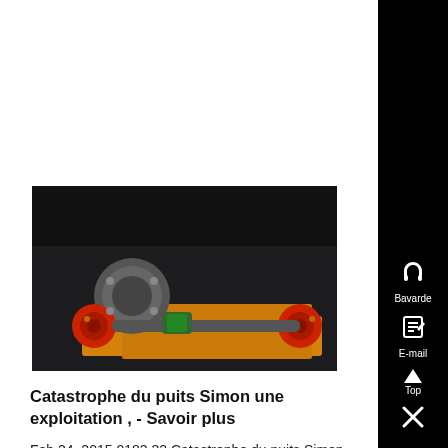[Figure (photo): Industrial mining machinery with red and grey components on an orange/yellow frame against a dark background]
Catastrophe du puits Simon une exploitation , - Savoir plus
Feb 24, 2015 0183 32 Catastrophe du puits Simon une exploitation trop poussée ? , Mine de charbon / grisou et poussiéres - Duration , brgmTV 2,373 ,...